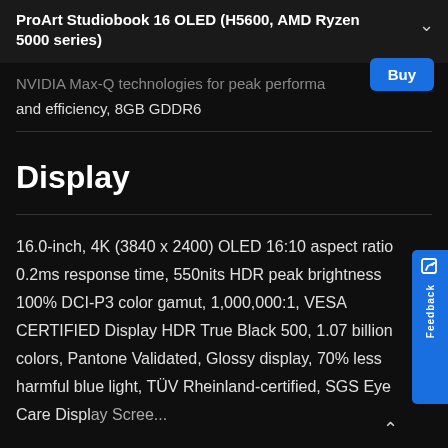ProArt Studiobook 16 OLED (H5600, AMD Ryzen 5000 series)
NVIDIA Max-Q technologies for peak performance and efficiency, 8GB GDDR6
Display
16.0-inch, 4K (3840 x 2400) OLED 16:10 aspect ratio, 0.2ms response time, 550nits HDR peak brightness, 100% DCI-P3 color gamut, 1,000,000:1, VESA CERTIFIED Display HDR True Black 500, 1.07 billion colors, Pantone Validated, Glossy display, 70% less harmful blue light, TÜV Rheinland-certified, SGS Eye Care Display Screen technology, Iris 85